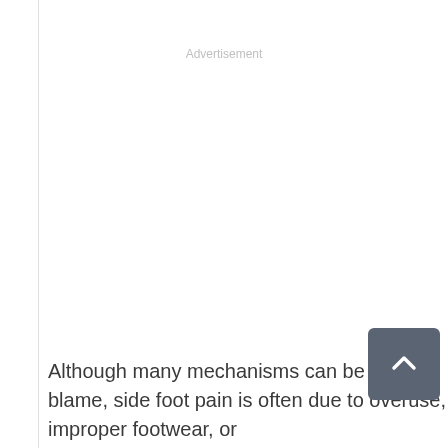Advertisement
Although many mechanisms can be to blame, side foot pain is often due to overuse, improper footwear, or